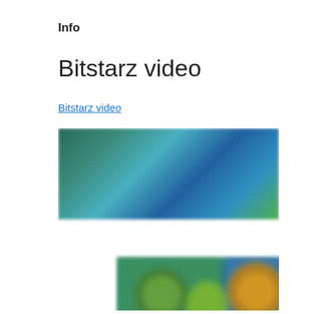Info
Bitstarz video
Bitstarz video
[Figure (screenshot): Blurred screenshot of a casino game lobby showing colorful game thumbnails with character icons on a dark background. Top half shows teal/green and blue game cards with circular character icons; bottom half shows darker purple and dark game cards.]